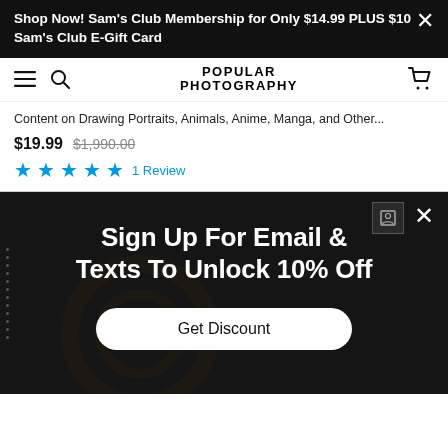Shop Now! Sam's Club Membership for Only $14.99 PLUS $10 Sam's Club E-Gift Card
POPULAR PHOTOGRAPHY
Content on Drawing Portraits, Animals, Anime, Manga, and Other...
$19.99  $1,990.00
★★★★★ 1 Review
Sign Up For Email & Texts To Unlock 10% Off
Get Discount